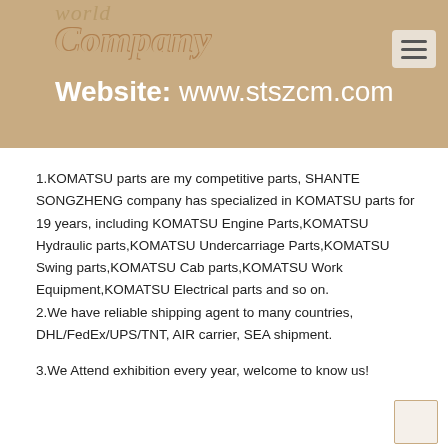world
Company
Website: www.stszcm.com
1.KOMATSU parts are my competitive parts, SHANTE SONGZHENG company has specialized in KOMATSU parts for 19 years, including KOMATSU Engine Parts,KOMATSU Hydraulic parts,KOMATSU Undercarriage Parts,KOMATSU Swing parts,KOMATSU Cab parts,KOMATSU Work Equipment,KOMATSU Electrical parts and so on.
2.We have reliable shipping agent to many countries, DHL/FedEx/UPS/TNT, AIR carrier, SEA shipment.
3.We Attend exhibition every year, welcome to know us!